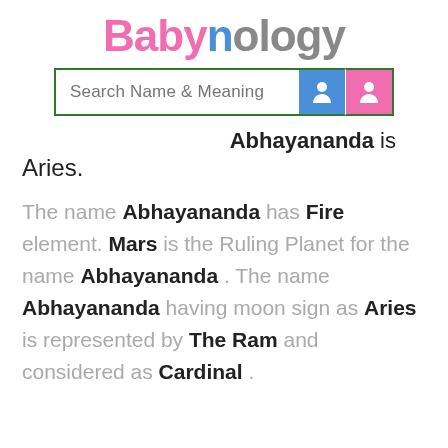Babynology
[Figure (screenshot): Search Name & Meaning input bar with male and female icons]
Abhayananda is Aries.
The name Abhayananda has Fire element. Mars is the Ruling Planet for the name Abhayananda . The name Abhayananda having moon sign as Aries is represented by The Ram and considered as Cardinal .